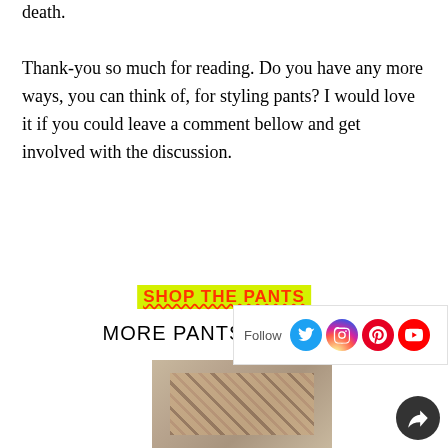death.
Thank-you so much for reading. Do you have any more ways, you can think of, for styling pants? I would love it if you could leave a comment bellow and get involved with the discussion.
SHOP THE PANTS
MORE PANTS BELLOW:
[Figure (photo): Photo of person wearing plaid/checked pants, cropped at waist level]
[Figure (infographic): Follow widget with social media icons: Twitter, Instagram, Pinterest, YouTube]
[Figure (other): Share/reply button, dark circular icon]